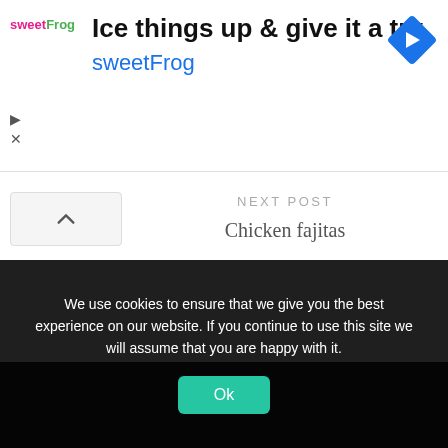[Figure (screenshot): Advertisement banner for sweetFrog with logo, tagline 'Ice things up & give it a try', brand name 'sweetFrog', and a blue navigation icon (diamond with right arrow). Play and close controls visible on left.]
NEXT POST
Chicken fajitas
We use cookies to ensure that we give you the best experience on our website. If you continue to use this site we will assume that you are happy with it.
Ok